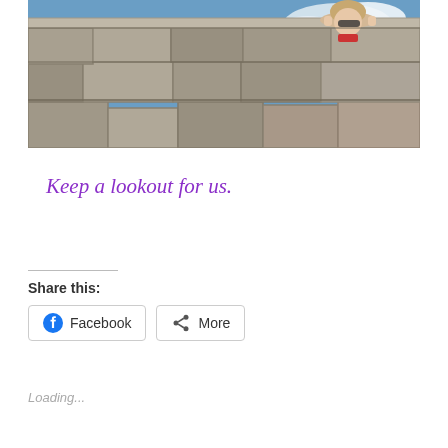[Figure (photo): Photo of a person peering over the top of a large stone wall made of rough-cut granite blocks, with blue sky and clouds visible in the background]
Keep a lookout for us.
Share this:
Loading...